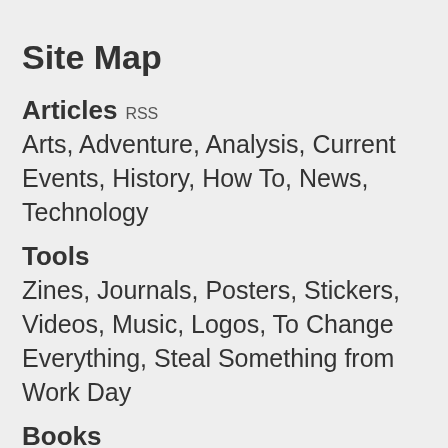Site Map
Articles RSS
Arts, Adventure, Analysis, Current Events, History, How To, News, Technology
Tools
Zines, Journals, Posters, Stickers, Videos, Music, Logos, To Change Everything, Steal Something from Work Day
Books
From Democracy to Freedom, Contradictionary, Work, Expect Resistance, Recipes for Disaster, Days of War Nights of Love, No Wall They Can Build, Off the Map